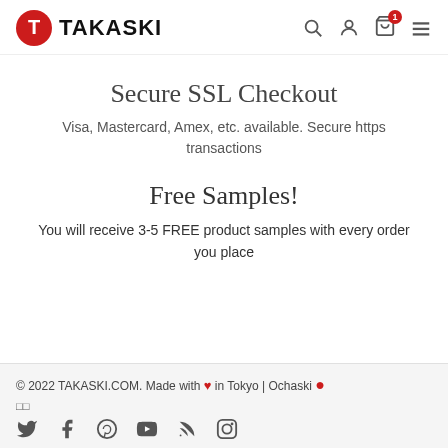TAKASKI
Secure SSL Checkout
Visa, Mastercard, Amex, etc. available. Secure https transactions
Free Samples!
You will receive 3-5 FREE product samples with every order you place
© 2022 TAKASKI.COM. Made with ♥ in Tokyo | Ochaski ●  □□